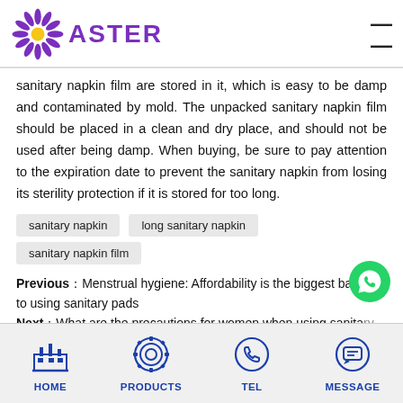ASTER
sanitary napkin film are stored in it, which is easy to be damp and contaminated by mold. The unpacked sanitary napkin film should be placed in a clean and dry place, and should not be used after being damp. When buying, be sure to pay attention to the expiration date to prevent the sanitary napkin from losing its sterility protection if it is stored for too long.
sanitary napkin
long sanitary napkin
sanitary napkin film
Previous：Menstrual hygiene: Affordability is the biggest barrier to using sanitary pads
Next：What are the precautions for women when using sanitary napkin turkey?
HOME   PRODUCTS   TEL   MESSAGE